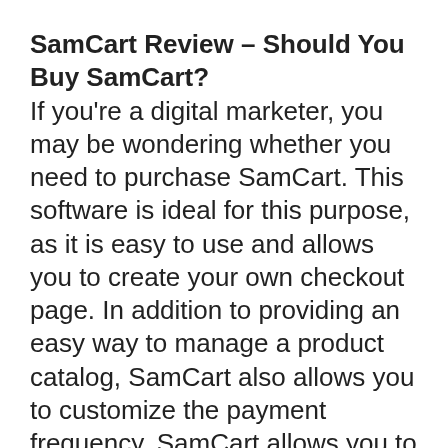SamCart Review – Should You Buy SamCart?
If you're a digital marketer, you may be wondering whether you need to purchase SamCart. This software is ideal for this purpose, as it is easy to use and allows you to create your own checkout page. In addition to providing an easy way to manage a product catalog, SamCart also allows you to customize the payment frequency. SamCart allows you to offer a free trial, or a paid subscription.
Another great feature is the ability to include an affiliate program in your cart. SamCart's Affiliate Center makes tracking affiliate commissions and sales easy. You can also choose the cookie duration and delay you